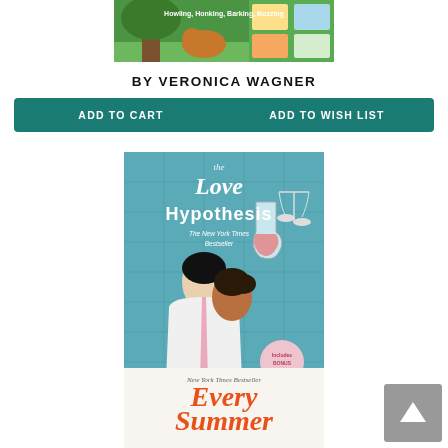[Figure (photo): Partial book cover at top of page - colorful illustrated book cover with text 'Howling, Honking, Barking, Buzzing' by Veronica Wagner]
BY VERONICA WAGNER
ADD TO CART
ADD TO WISH LIST
[Figure (photo): Book cover for 'The Love Hypothesis' by Ali Hazelwood - teal background with two people about to kiss, lab equipment, New York Times Bestseller badge]
BY ALI HAZELWOOD
ADD TO CART
ADD TO WISH LIST
[Figure (photo): Partial book cover for 'Every Summer After' - New York Times Bestseller, orange title text on white background]
[Figure (other): Scroll-to-top arrow button in grey square, bottom right corner]